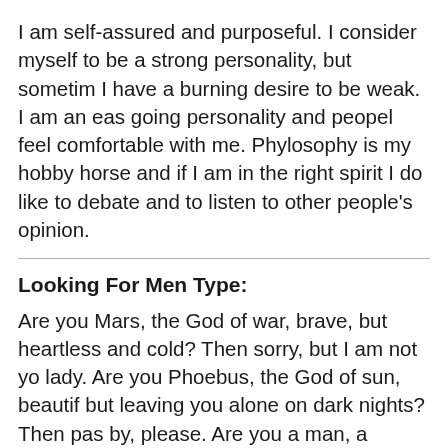I am self-assured and purposeful. I consider myself to be a strong personality, but sometimes I have a burning desire to be weak. I am an easy going personality and peopel feel comfortable with me. Phylosophy is my hobby horse and if I am in the right spirit I do like to debate and to listen to other people's opinion.
Looking For Men Type:
Are you Mars, the God of war, brave, but heartless and cold? Then sorry, but I am not your lady. Are you Phoebus, the God of sun, beautiful but leaving you alone on dark nights? Then pass by, please. Are you a man, a mortal human-being but confident and strong, daring to cross the ocean to his lady? Then here you are, right where I am looking for you and only for you. You are sincere, you are real. A friend, a husband, a lover. You have dozens of descriptions, but only one face, the face I want to see day by day for...